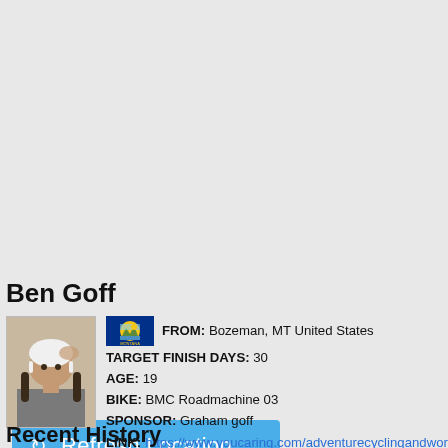[Figure (other): Blue 'Refresh Location' button with refresh icon]
Ben Goff
[Figure (photo): Profile photo of Ben Goff wearing a white cycling helmet]
FROM: Bozeman, MT United States
TARGET FINISH DAYS: 30
AGE: 19
BIKE: BMC Roadmachine 03
SPONSOR: Graham goff
LINK: https://www.youcaring.com/adventurecyclingandworl
Recent History